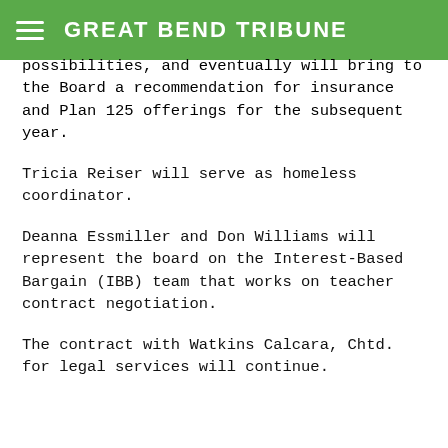GREAT BEND TRIBUNE
possibilities, and eventually will bring to the Board a recommendation for insurance and Plan 125 offerings for the subsequent year.
Tricia Reiser will serve as homeless coordinator.
Deanna Essmiller and Don Williams will represent the board on the Interest-Based Bargain (IBB) team that works on teacher contract negotiation.
The contract with Watkins Calcara, Chtd. for legal services will continue.